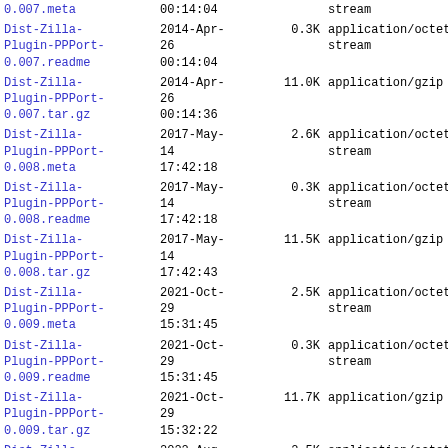| Filename | Date | Size | MIME |
| --- | --- | --- | --- |
| 0.007.meta | 00:14:04 |  | stream |
| Dist-Zilla-Plugin-PPPort-0.007.readme | 2014-Apr-26
00:14:04 | 0.3K | application/octet-stream |
| Dist-Zilla-Plugin-PPPort-0.007.tar.gz | 2014-Apr-26
00:14:36 | 11.0K | application/gzip |
| Dist-Zilla-Plugin-PPPort-0.008.meta | 2017-May-14
17:42:18 | 2.6K | application/octet-stream |
| Dist-Zilla-Plugin-PPPort-0.008.readme | 2017-May-14
17:42:18 | 0.3K | application/octet-stream |
| Dist-Zilla-Plugin-PPPort-0.008.tar.gz | 2017-May-14
17:42:43 | 11.5K | application/gzip |
| Dist-Zilla-Plugin-PPPort-0.009.meta | 2021-Oct-29
15:31:45 | 2.5K | application/octet-stream |
| Dist-Zilla-Plugin-PPPort-0.009.readme | 2021-Oct-29
15:31:45 | 0.3K | application/octet-stream |
| Dist-Zilla-Plugin-PPPort-0.009.tar.gz | 2021-Oct-29
15:32:22 | 11.7K | application/gzip |
| Dist-Zilla-Plugin-PPPort-0.010.meta | 2022-Aug-29
16:28:00 | 2.5K | application/octet-stream |
| Dist-Zilla-Plugin-PPPort-0.010.readme | 2022-Aug-29
16:28:00 | 0.3K | application/octet-stream |
| Dist-Zilla- | 2022-Aug- |  |  |